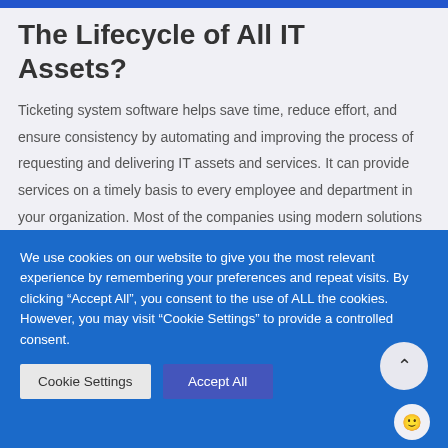The Lifecycle of All IT Assets?
Ticketing system software helps save time, reduce effort, and ensure consistency by automating and improving the process of requesting and delivering IT assets and services. It can provide services on a timely basis to every employee and department in your organization. Most of the companies using modern solutions such as IT management tools note the formation of a complex
We use cookies on our website to give you the most relevant experience by remembering your preferences and repeat visits. By clicking “Accept All”, you consent to the use of ALL the cookies. However, you may visit “Cookie Settings” to provide a controlled consent.
Cookie Settings
Accept All